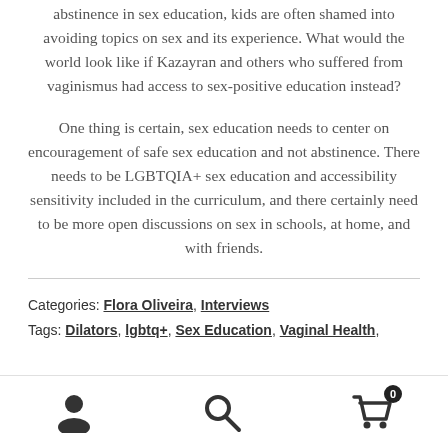abstinence in sex education, kids are often shamed into avoiding topics on sex and its experience. What would the world look like if Kazayran and others who suffered from vaginismus had access to sex-positive education instead?
One thing is certain, sex education needs to center on encouragement of safe sex education and not abstinence. There needs to be LGBTQIA+ sex education and accessibility sensitivity included in the curriculum, and there certainly need to be more open discussions on sex in schools, at home, and with friends.
Categories: Flora Oliveira, Interviews
Tags: Dilators, lgbtq+, Sex Education, Vaginal Health,
[Figure (infographic): Bottom navigation bar with three icons: user/account icon on the left, search magnifying glass icon in the center, and a shopping cart icon with badge showing count 0 on the right.]